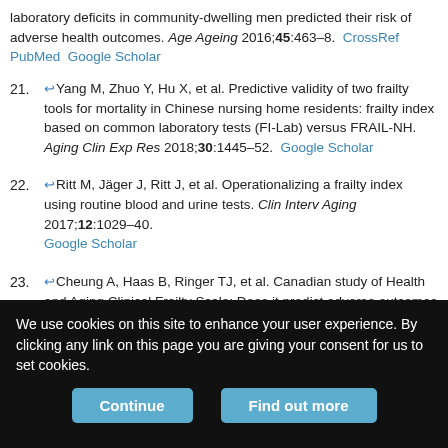laboratory deficits in community-dwelling men predicted their risk of adverse health outcomes. Age Ageing 2016;45:463–8.  CrossRef PubMed Google Scholar
21. ↩Yang M, Zhuo Y, Hu X, et al. Predictive validity of two frailty tools for mortality in Chinese nursing home residents: frailty index based on common laboratory tests (FI-Lab) versus FRAIL-NH. Aging Clin Exp Res 2018;30:1445–52.  Google Scholar
22. ↩Ritt M, Jäger J, Ritt J, et al. Operationalizing a frailty index using routine blood and urine tests. Clin Interv Aging 2017;12:1029–40. Google Scholar
23. ↩Cheung A, Haas B, Ringer TJ, et al. Canadian study of Health and Aging Clinical Frailty Scale: Does it predict adverse outcomes among geriatric trauma patients? J Am Coll Surg 2017;225:658–65.e3.  PubMed Google Scholar
We use cookies on this site to enhance your user experience. By clicking any link on this page you are giving your consent for us to set cookies.